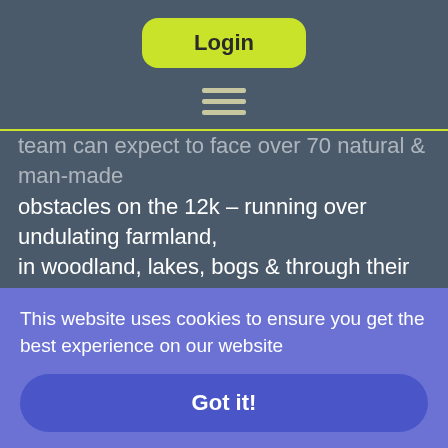Login
team can expect to face over 70 natural & man-made obstacles on the 12k – running over undulating farmland, in woodland, lakes, bogs & through their award winning #lovemud obstacle. It is recommended that the team should duck-tape their trainers on for this challenge! The course also includes The Deathslide & ziplines. Mild hypothermia isn't uncommon say Nuclear and cuts, bruises, scrapes and sore limbs are common, but these
This website uses cookies to ensure you get the best experience on our website
Got it!